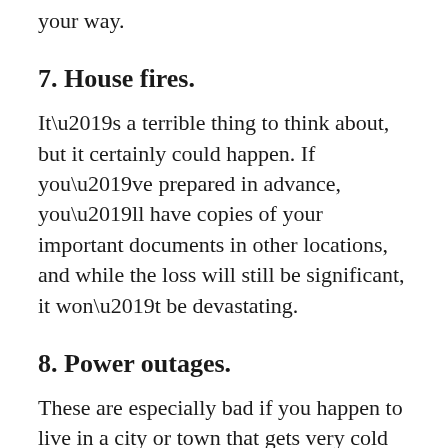your way.
7. House fires.
It’s a terrible thing to think about, but it certainly could happen. If you’ve prepared in advance, you’ll have copies of your important documents in other locations, and while the loss will still be significant, it won’t be devastating.
8. Power outages.
These are especially bad if you happen to live in a city or town that gets very cold in the winter, and if that’s when the electrical grid happens to go down. This was our situation